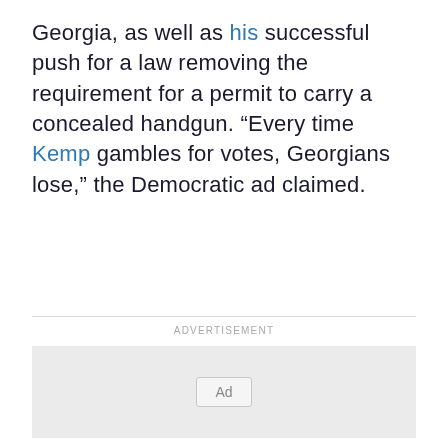Georgia, as well as his successful push for a law removing the requirement for a permit to carry a concealed handgun. “Every time Kemp gambles for votes, Georgians lose,” the Democratic ad claimed.
ADVERTISEMENT
[Figure (other): Advertisement placeholder box with an 'Ad' label button in the center]